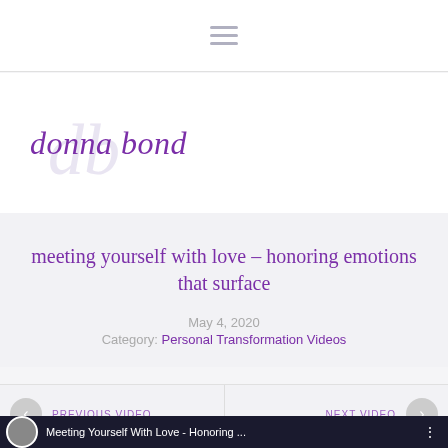Navigation menu (hamburger icon)
[Figure (logo): Donna Bond cursive logo in purple with decorative 'db' monogram in light lavender behind it]
meeting yourself with love – honoring emotions that surface
May 4, 2020
Category: Personal Transformation Videos
PREVIOUS VIDEO | NEXT VIDEO navigation
[Figure (screenshot): Video thumbnail strip showing 'Meeting Yourself With Love - Honoring ...' video title with circular profile photo and three-dot menu]